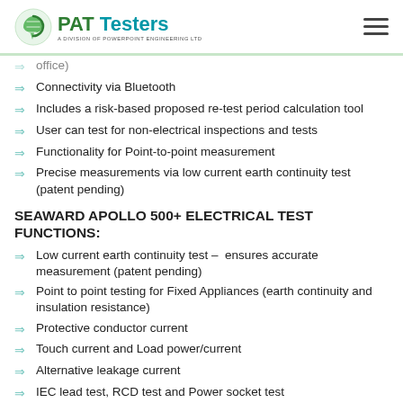PAT Testers - A Division of Powerpoint Engineering Ltd
office)
Connectivity via Bluetooth
Includes a risk-based proposed re-test period calculation tool
User can test for non-electrical inspections and tests
Functionality for Point-to-point measurement
Precise measurements via low current earth continuity test  (patent pending)
SEAWARD APOLLO 500+ ELECTRICAL TEST FUNCTIONS:
Low current earth continuity test –  ensures accurate measurement (patent pending)
Point to point testing for Fixed Appliances (earth continuity and insulation resistance)
Protective conductor current
Touch current and Load power/current
Alternative leakage current
IEC lead test, RCD test and Power socket test